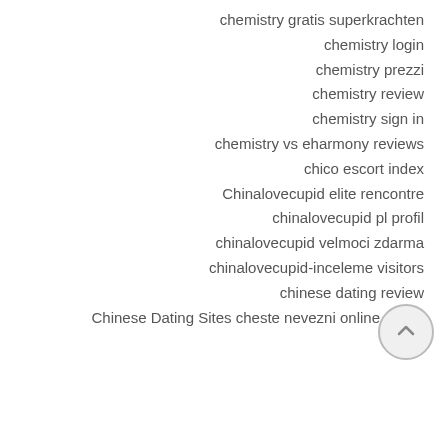chemistry gratis superkrachten
chemistry login
chemistry prezzi
chemistry review
chemistry sign in
chemistry vs eharmony reviews
chico escort index
Chinalovecupid elite rencontre
chinalovecupid pl profil
chinalovecupid velmoci zdarma
chinalovecupid-inceleme visitors
chinese dating review
Chinese Dating Sites cheste nevezni online